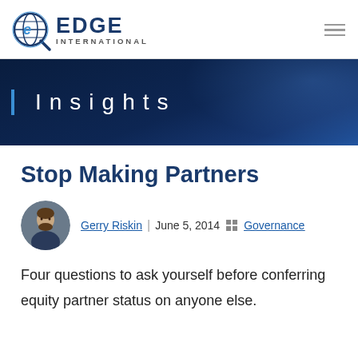[Figure (logo): Edge International logo with globe/magnifier icon and bold EDGE INTERNATIONAL text]
Insights
Stop Making Partners
[Figure (photo): Circular headshot of Gerry Riskin]
Gerry Riskin | June 5, 2014 :: Governance
Four questions to ask yourself before conferring equity partner status on anyone else.